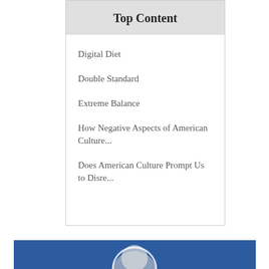Top Content
Digital Diet
Double Standard
Extreme Balance
How Negative Aspects of American Culture...
Does American Culture Prompt Us to Disre...
[Figure (photo): Partial view of a person in a blue banner section at the bottom of the page]